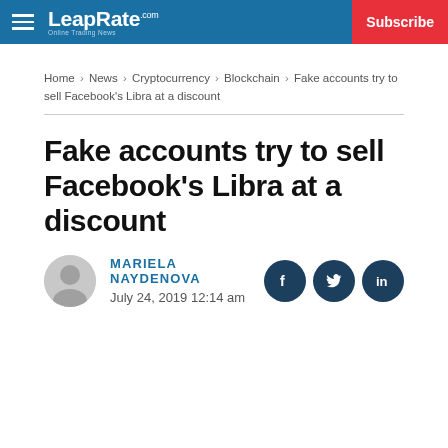LeapRate.com | Subscribe
Home › News › Cryptocurrency › Blockchain › Fake accounts try to sell Facebook's Libra at a discount
Fake accounts try to sell Facebook's Libra at a discount
MARIELA NAYDENOVA — July 24, 2019 12:14 am